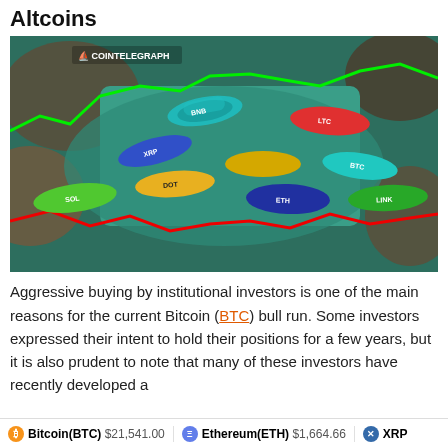Altcoins
[Figure (illustration): Cointelegraph illustrated image showing cartoon kayakers representing various cryptocurrencies (BNB, XRP, LTC, DOT, ETH, BTC, LINK, SOL) paddling on water, with green and red boundary lines overlaid on a river aerial photo background.]
Aggressive buying by institutional investors is one of the main reasons for the current Bitcoin (BTC) bull run. Some investors expressed their intent to hold their positions for a few years, but it is also prudent to note that many of these investors have recently developed a
Bitcoin(BTC) $21,541.00   Ethereum(ETH) $1,664.66   XRP